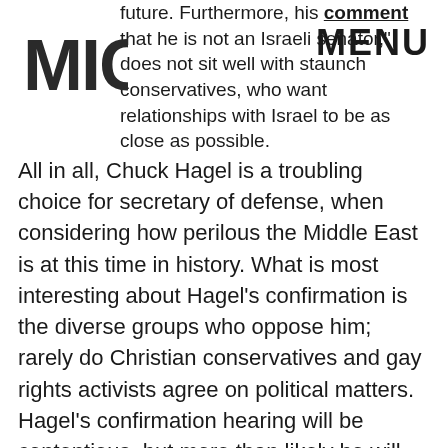MIC | MENU
future. Furthermore, his comment that he is not an Israeli senator," does not sit well with staunch conservatives, who want relationships with Israel to be as close as possible.
All in all, Chuck Hagel is a troubling choice for secretary of defense, when considering how perilous the Middle East is at this time in history. What is most interesting about Hagel's confirmation is the diverse groups who oppose him; rarely do Christian conservatives and gay rights activists agree on political matters. Hagel's confirmation hearing will be contentious, but more than likely he will get the nomination.